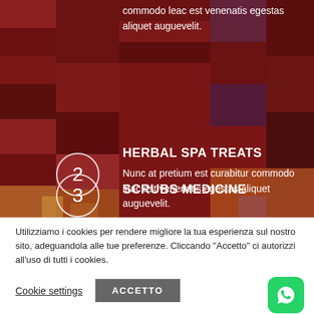commodo leac est venenatis egestas aliquet auguevelit.
HERBAL SPA TREATS
Nunc at pretium est curabitur commodo leac est venenatis egestas aliquet auguevelit.
SCRUBS MEDICINE
Utilizziamo i cookies per rendere migliore la tua esperienza sul nostro sito, adeguandola alle tue preferenze. Cliccando "Accetto" ci autorizzi all'uso di tutti i cookies.
Cookie settings
ACCETTO
[Figure (logo): WhatsApp green icon button]